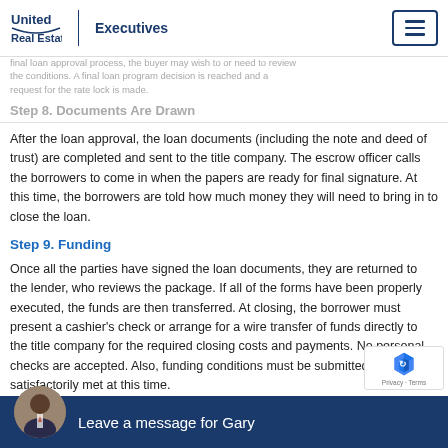United Real Estate Executives
final loan approval process, the buyer may wish to or need to review the conditions. A final loan program decision is reached and a request for the rate lock is made.
Step 8. Documents Are Drawn
After the loan approval, the loan documents (including the note and deed of trust) are completed and sent to the title company. The escrow officer calls the borrowers to come in when the papers are ready for final signature. At this time, the borrowers are told how much money they will need to bring in to close the loan.
Step 9. Funding
Once all the parties have signed the loan documents, they are returned to the lender, who reviews the package. If all of the forms have been properly executed, the funds are then transferred. At closing, the borrower must present a cashier's check or arrange for a wire transfer of funds directly to the title company for the required closing costs and payments. No personal checks are accepted. Also, funding conditions must be submitted and satisfactorily met at this time.
Step 10
Leave a message for Gary